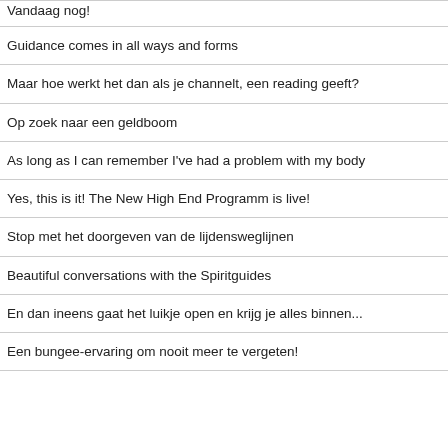Vandaag nog!
Guidance comes in all ways and forms
Maar hoe werkt het dan als je channelt, een reading geeft?
Op zoek naar een geldboom
As long as I can remember I've had a problem with my body
Yes, this is it! The New High End Programm is live!
Stop met het doorgeven van de lijdensweglijnen
Beautiful conversations with the Spiritguides
En dan ineens gaat het luikje open en krijg je alles binnen...
Een bungee-ervaring om nooit meer te vergeten!